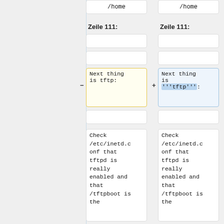/home
/home
Zeile 111:
Zeile 111:
Next thing is tftp:
Next thing is '''tftp''':
Check /etc/inetd.conf that tftpd is really enabled and that /tftpboot is the
Check /etc/inetd.conf that tftpd is really enabled and that /tftpboot is the